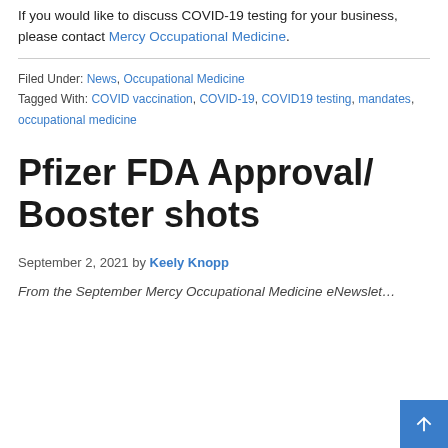If you would like to discuss COVID-19 testing for your business, please contact Mercy Occupational Medicine.
Filed Under: News, Occupational Medicine
Tagged With: COVID vaccination, COVID-19, COVID19 testing, mandates, occupational medicine
Pfizer FDA Approval/ Booster shots
September 2, 2021 by Keely Knopp
From the September Mercy Occupational Medicine eNewslet…